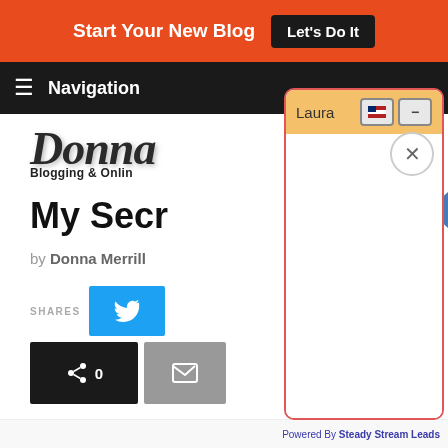Start Your New Blog  Let's Do It
Navigation
[Figure (screenshot): Website page partially visible behind chat widget overlay showing Donna's blog with logo, article title 'My Secr...', byline 'by Donna Merrill', social share buttons (Twitter, Reddit, Email), and intro text 'This post was mo...']
[Figure (screenshot): Chat widget overlay with orange/yellow header labeled 'Laura', flag and minus buttons in header, X close button, empty white chat body area with red border]
Did you ever have an
Powered By Steady Stream Leads